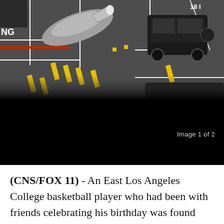[Figure (photo): Aerial view of a parking lot with several vehicles including a silver sedan with its door open, a large dark SUV (G-Wagon style), and another dark vehicle partially visible. Yellow parking space lines and a red curb stripe are visible on the dark asphalt.]
Image 1 of 2
(CNS/FOX 11) - An East Los Angeles College basketball player who had been with friends celebrating his birthday was found fatally shot in the back seat of a car